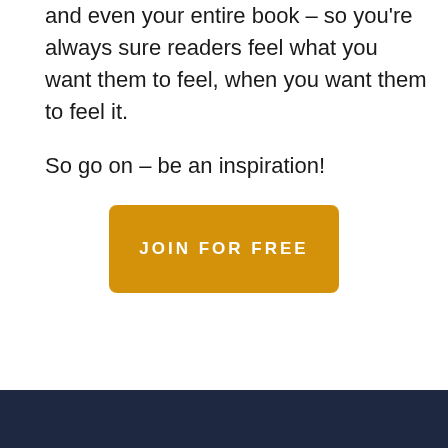and even your entire book – so you're always sure readers feel what you want them to feel, when you want them to feel it.
So go on – be an inspiration!
JOIN FOR FREE